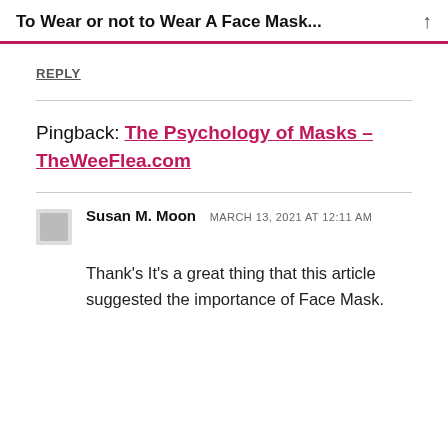To Wear or not to Wear A Face Mask...
REPLY
Pingback: The Psychology of Masks – TheWeeFlea.com
Susan M. Moon  MARCH 13, 2021 AT 12:11 AM
Thank's It's a great thing that this article suggested the importance of Face Mask.